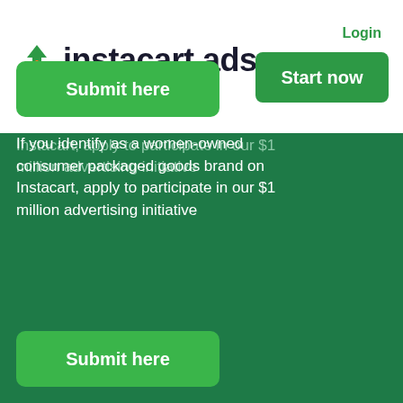[Figure (logo): Instacart Ads logo with green leaf/carrot icon and dark text]
Login
Start now
Instacart, apply to participate in our $1 million advertising initiative
Submit here
If you identify as a women-owned consumer packaged goods brand on Instacart, apply to participate in our $1 million advertising initiative
Submit here